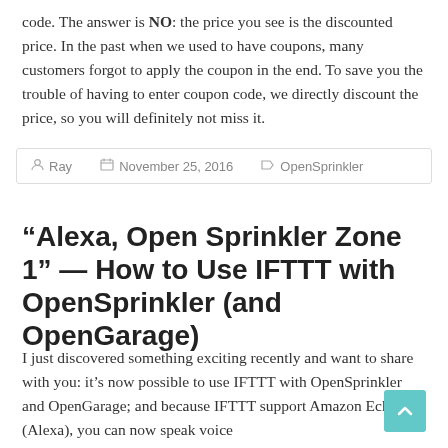code. The answer is NO: the price you see is the discounted price. In the past when we used to have coupons, many customers forgot to apply the coupon in the end. To save you the trouble of having to enter coupon code, we directly discount the price, so you will definitely not miss it.
Ray   November 25, 2016   OpenSprinkler
“Alexa, Open Sprinkler Zone 1” — How to Use IFTTT with OpenSprinkler (and OpenGarage)
I just discovered something exciting recently and want to share with you: it’s now possible to use IFTTT with OpenSprinkler and OpenGarage; and because IFTTT support Amazon Echo (Alexa), you can now speak voice commands to trigger sprinkler actions. For example,